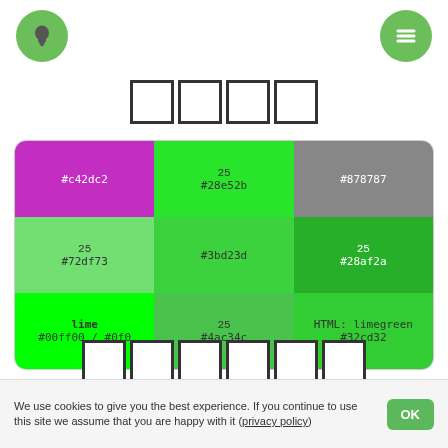[Figure (illustration): Green circular lightbulb icon button (top left nav)]
[Figure (illustration): Green circular hamburger menu icon button (top right nav)]
□□□□
| #c42dc2 | 25 #28e52b | #878787 |
| 25 #72df73 | #3bd23d | 25 #28af2a |
| lime #00ff00 / #0f0 | 25 #4ac34c | HTML: limegreen #32cd32 |
□□□□□□
We use cookies to give you the best experience. If you continue to use this site we assume that you are happy with it (privacy policy)